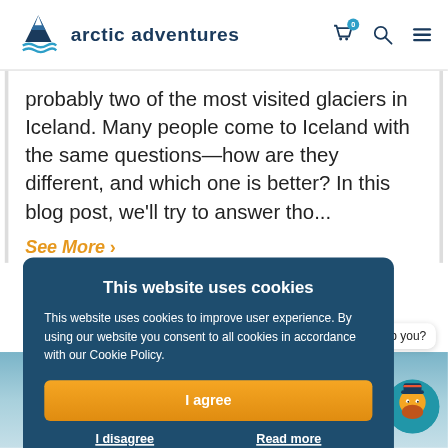arctic adventures
probably two of the most visited glaciers in Iceland. Many people come to Iceland with the same questions—how are they different, and which one is better? In this blog post, we'll try to answer tho...
See More >
This website uses cookies
This website uses cookies to improve user experience. By using our website you consent to all cookies in accordance with our Cookie Policy.
I agree
I disagree
Read more
help you?